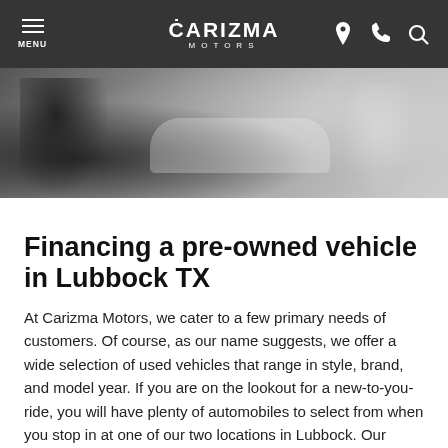CARIZMA MOTORS — navigation bar with MENU, logo, location, phone, search icons
[Figure (photo): Hero banner image showing a car dealership scene with two people at a desk, a white car in the background, dark overlay]
Financing a pre-owned vehicle in Lubbock TX
At Carizma Motors, we cater to a few primary needs of customers. Of course, as our name suggests, we offer a wide selection of used vehicles that range in style, brand, and model year. If you are on the lookout for a new-to-you-ride, you will have plenty of automobiles to select from when you stop in at one of our two locations in Lubbock. Our other focuses remain on you and your credit. Do you have no credit? You can get auto loans through us even if